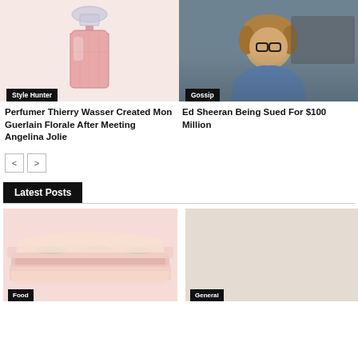[Figure (photo): Pink perfume bottle (Mon Guerlain Florale) on white background with Style Hunter category tag]
[Figure (photo): Ed Sheeran with glasses and blue jacket, dark background, with Gossip category tag]
Perfumer Thierry Wasser Created Mon Guerlain Florale After Meeting Angelina Jolie
Ed Sheeran Being Sued For $100 Million
Latest Posts
[Figure (photo): Food photo (sandwich/wrap) with Food category tag]
[Figure (photo): General category photo placeholder with General tag]